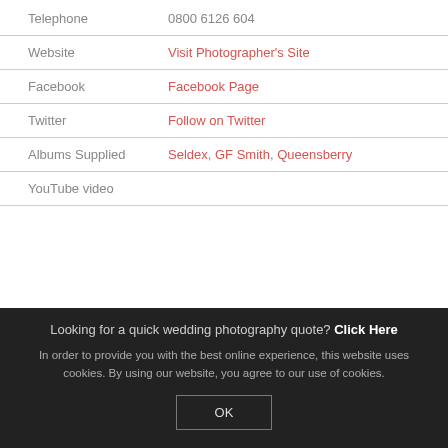| Telephone | 0800 6126 604 |
| Website | Visit Photographer's Site |
| Facebook | Facebook Page |
| Twitter | Follow on Twitter |
| Albums Supplied | Seldex, GF Smith, Queensberry |
| YouTube video |  |
Looking for a quick wedding photography quote? Click Here
In order to provide you with the best online experience, this website uses cookies. By using our website, you agree to our use of cookies.
OK